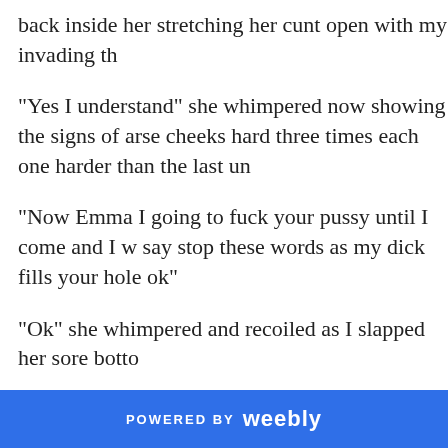back inside her stretching her cunt open with my invading th
"Yes I understand" she whimpered now showing the signs of arse cheeks hard three times each one harder than the last un
"Now Emma I going to fuck your pussy until I come and I w say stop these words as my dick fills your hole ok"
"Ok" she whimpered and recoiled as I slapped her sore botto
"Repeat after me Emma, I'm your whore and my holes are y
I held her hips and began slowly fucking her making sure tha smashed into her body and then she began to speak, just as F
POWERED BY weebly